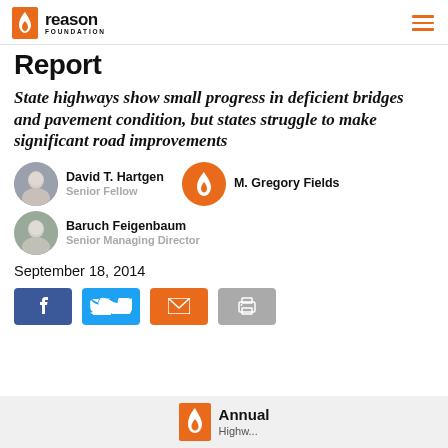Reason Foundation
Report
State highways show small progress in deficient bridges and pavement condition, but states struggle to make significant road improvements
David T. Hartgen
Senior Fellow
M. Gregory Fields
Baruch Feigenbaum
Senior Managing Director
September 18, 2014
[Figure (infographic): Social sharing buttons: Facebook, Twitter, Email, Print]
Annual